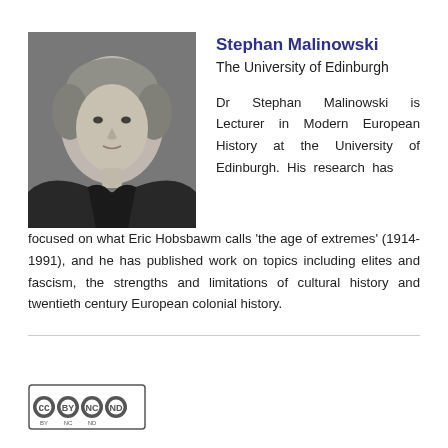[Figure (photo): Black and white headshot photo of Stephan Malinowski, a middle-aged man with short grey hair wearing a dark shirt.]
Stephan Malinowski
The University of Edinburgh
Dr Stephan Malinowski is Lecturer in Modern European History at the University of Edinburgh. His research has focused on what Eric Hobsbawm calls ‘the age of extremes’ (1914-1991), and he has published work on topics including elites and fascism, the strengths and limitations of cultural history and twentieth century European colonial history.
[Figure (logo): Creative Commons license icons: CC BY NC ND]